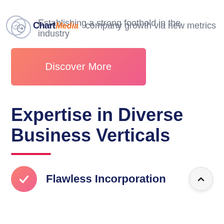Chartmedia company growth via new metrics
Establishing a strong foothold in the industry
Discover More
Expertise in Diverse Business Verticals
Flawless Incorporation
The...